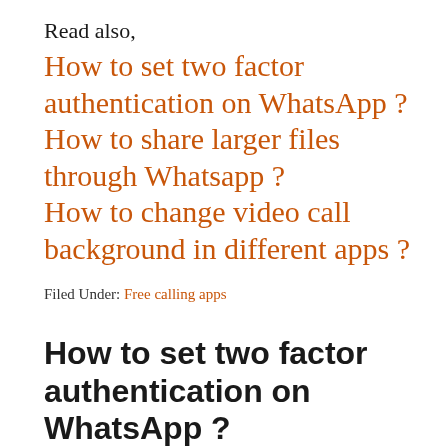Read also,
How to set two factor authentication on WhatsApp ?
How to share larger files through Whatsapp ?
How to change video call background in different apps ?
Filed Under: Free calling apps
How to set two factor authentication on WhatsApp ?